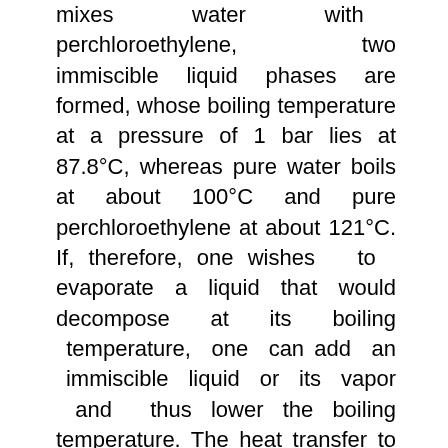mixes water with perchloroethylene, two immiscible liquid phases are formed, whose boiling temperature at a pressure of 1 bar lies at 87.8°C, whereas pure water boils at about 100°C and pure perchloroethylene at about 121°C. If, therefore, one wishes to evaporate a liquid that would decompose at its boiling temperature, one can add an immiscible liquid or its vapor and thus lower the boiling temperature. The heat transfer to such immiscible liquids is determined to a great extent by which of the two liquid phases touches the heating surface. If, for example, a mixture of water/perchloroethylene fills a container with a horizontal heating surface at the bottom, then the lower phase contains mainly the heavier and less volatile perchloroethylene, whereas the upper phase consists primarily of water. At sufficiently large heat fluxes, either nucleate or film boiling